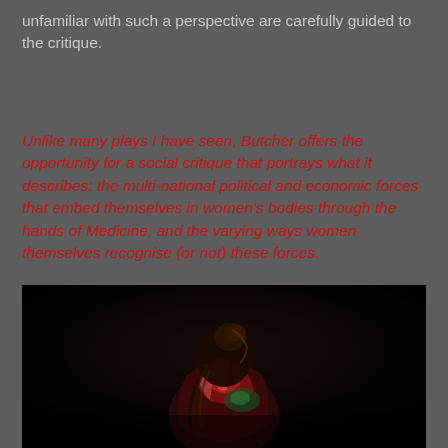unfamiliar with such a perspective are carefully guided to the critique.
Unlike many plays I have seen, Butcher offers the opportunity for a social critique that portrays what it describes: the multi-national political and economic forces that embed themselves in women's bodies through the hands of Medicine, and the varying ways women themselves recognise (or not) these forces.
[Figure (photo): A performer seen from behind, wearing a shiny multicolored costume with red and green highlights, with hair up, against a dark/black background with dramatic lighting.]